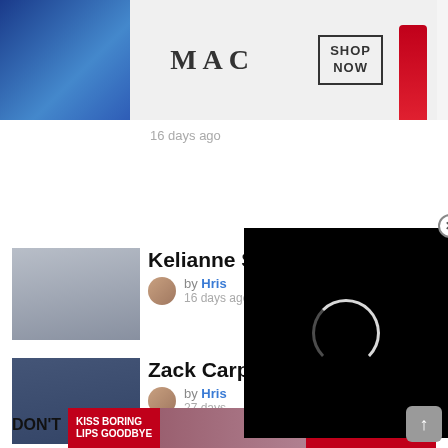[Figure (photo): Sports athlete photo on left, MAC cosmetics lipstick advertisement banner on right with 'SHOP NOW' button]
16 days ago
[Figure (photo): Photo of Kelianne Stankus, young woman with long wavy blonde hair]
Kelianne Stankus
by Hris
16 days ago
[Figure (photo): Photo of Zack Carp, young man in suit at event]
Zack Carp
by Hris
27 days
[Figure (other): Black video overlay panel with circular loading spinner]
CLOSE
DON'T
[Figure (photo): Macy's advertisement: KISS BORING LIPS GOODBYE with woman's red lips and SHOP NOW button]